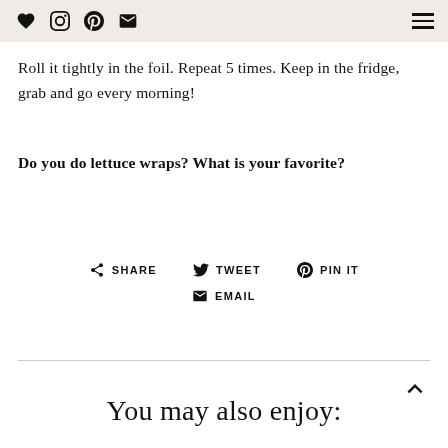♥ Instagram Pinterest Email ☰
Roll it tightly in the foil. Repeat 5 times. Keep in the fridge, grab and go every morning!
Do you do lettuce wraps? What is your favorite?
SHARE   TWEET   PIN IT   EMAIL
You may also enjoy: